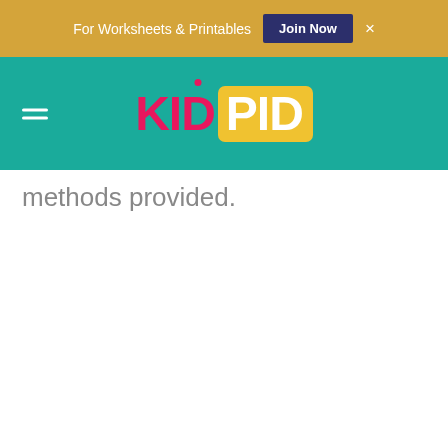For Worksheets & Printables  Join Now  ×
[Figure (logo): KidPid website logo with KID in pink/red and PID in white on a yellow rounded rectangle background, on a teal navigation bar with hamburger menu icon]
methods provided.